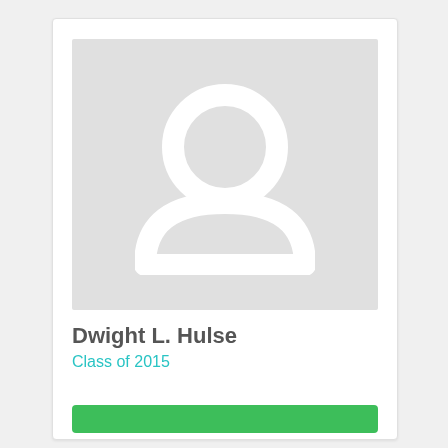[Figure (illustration): Placeholder profile photo area with a generic user silhouette icon (head circle and shoulders arc) in white on a light gray background]
Dwight L. Hulse
Class of 2015